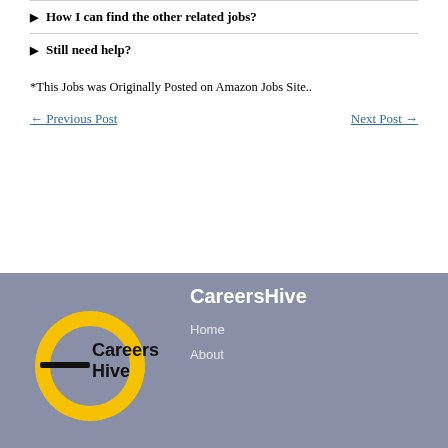How I can find the other related jobs?
Still need help?
*This Jobs was Originally Posted on Amazon Jobs Site..
← Previous Post
Next Post →
[Figure (logo): CareersHive logo: yellow circle with black 'Careers Hive' text and horizontal line]
CareersHive
Home
About